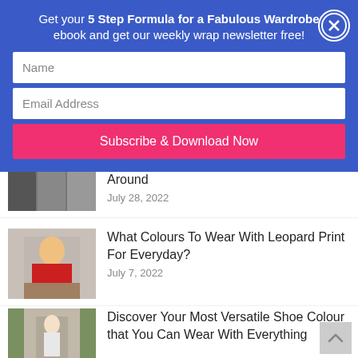Get your 5 Step Formula for a Fabulous Wardrobe ebook and get our weekly wrap newsletter free!
Name
Email Address
Subscribe & Download Now
Around
July 28, 2022
[Figure (photo): Thumbnail images of fashion-related articles]
What Colours To Wear With Leopard Print For Everyday?
July 7, 2022
[Figure (photo): Woman in red top sitting on the ground wearing leopard print skirt]
Discover Your Most Versatile Shoe Colour that You Can Wear With Everything
[Figure (photo): Woman in white coat standing on steps outside a building]